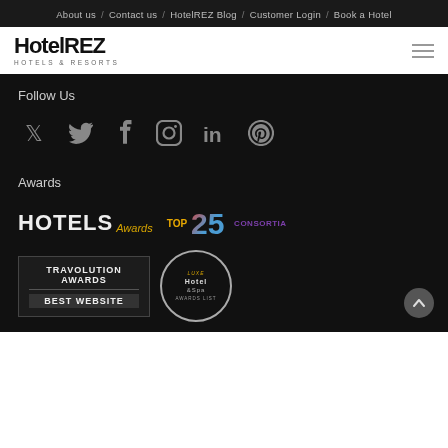About us / Contact us / HotelREZ Blog / Customer Login / Book a Hotel
[Figure (logo): HotelREZ Hotels & Resorts logo with hamburger menu icon]
Follow Us
[Figure (infographic): Social media icons: Twitter, Facebook, Instagram, LinkedIn, Pinterest]
Awards
[Figure (infographic): Awards logos: HOTELS Awards, TOP 25 CONSORTIA, TRAVOLUTION AWARDS BEST WEBSITE, Luxe Hotel & Spa award]